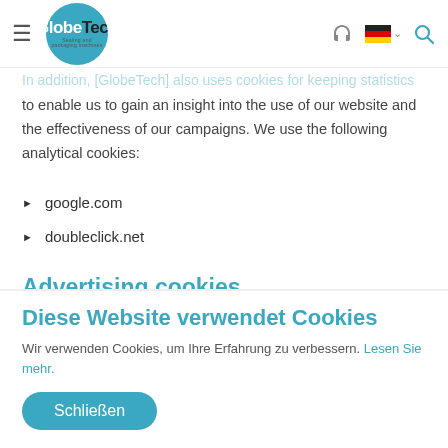GlobeTech — Sealing and packaging machines
Analytical cookies
In addition, [GlobeTech] also uses cookies for keeping statistics to enable us to gain an insight into the use of our website and the effectiveness of our campaigns. We use the following analytical cookies:
google.com
doubleclick.net
Advertising cookies
We also use advertising cookies to help us improve our online advertising performance and our business insight into the…
Diese Website verwendet Cookies
Wir verwenden Cookies, um Ihre Erfahrung zu verbessern. Lesen Sie mehr.
Schließen